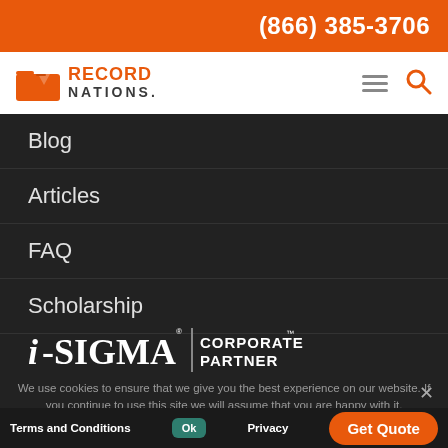(866) 385-3706
[Figure (logo): Record Nations logo with orange folder icon and wordmark]
Blog
Articles
FAQ
Scholarship
[Figure (logo): i-SIGMA Corporate Partner badge]
We use cookies to ensure that we give you the best experience on our website. If you continue to use this site we will assume that you are happy with it.
Terms and Conditions   Privacy